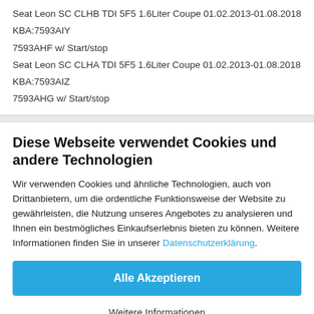Seat Leon SC CLHB TDI 5F5 1.6Liter Coupe 01.02.2013-01.08.2018
KBA:7593AIY
7593AHF w/ Start/stop
Seat Leon SC CLHA TDI 5F5 1.6Liter Coupe 01.02.2013-01.08.2018
KBA:7593AIZ
7593AHG w/ Start/stop
Diese Webseite verwendet Cookies und andere Technologien
Wir verwenden Cookies und ähnliche Technologien, auch von Drittanbietern, um die ordentliche Funktionsweise der Website zu gewährleisten, die Nutzung unseres Angebotes zu analysieren und Ihnen ein bestmögliches Einkaufserlebnis bieten zu können. Weitere Informationen finden Sie in unserer Datenschutzerklärung.
Alle Akzeptieren
Weitere Informationen